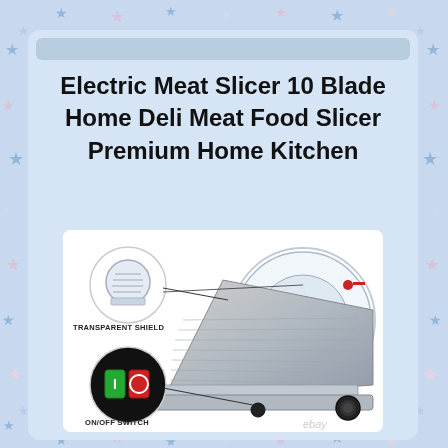Electric Meat Slicer 10 Blade Home Deli Meat Food Slicer Premium Home Kitchen
[Figure (photo): Electric meat slicer appliance with labeled parts: transparent shield (top circular callout) and on/off switch (bottom circular callout showing green and red buttons). The main machine body shows ribbed silver/aluminum surface. Labels read TRANSPARENT SHIELD and ON/OFF SWITCH. eBay watermark at bottom.]